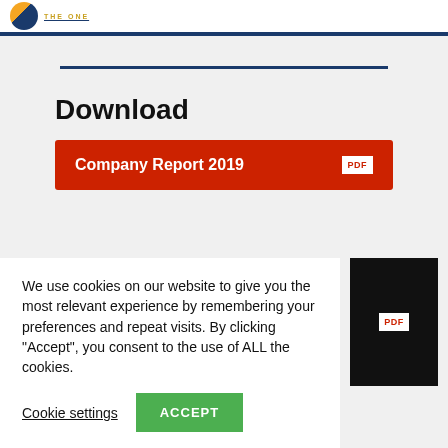THE ONE
Download
Company Report 2019
We use cookies on our website to give you the most relevant experience by remembering your preferences and repeat visits. By clicking "Accept", you consent to the use of ALL the cookies.
Cookie settings   ACCEPT